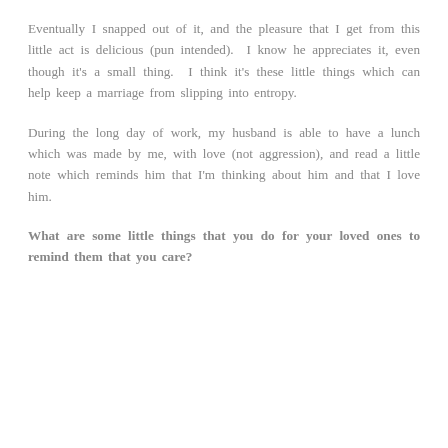Eventually I snapped out of it, and the pleasure that I get from this little act is delicious (pun intended). I know he appreciates it, even though it's a small thing. I think it's these little things which can help keep a marriage from slipping into entropy.
During the long day of work, my husband is able to have a lunch which was made by me, with love (not aggression), and read a little note which reminds him that I'm thinking about him and that I love him.
What are some little things that you do for your loved ones to remind them that you care?